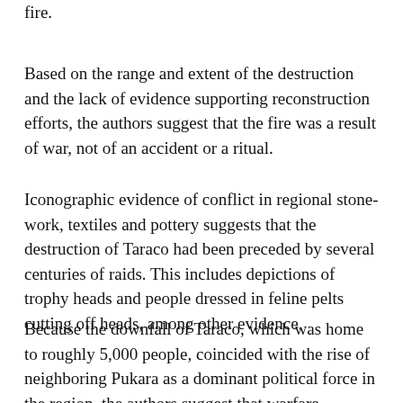fire.
Based on the range and extent of the destruction and the lack of evidence supporting reconstruction efforts, the authors suggest that the fire was a result of war, not of an accident or a ritual.
Iconographic evidence of conflict in regional stone-work, textiles and pottery suggests that the destruction of Taraco had been preceded by several centuries of raids. This includes depictions of trophy heads and people dressed in feline pelts cutting off heads, among other evidence.
Because the downfall of Taraco, which was home to roughly 5,000 people, coincided with the rise of neighboring Pukara as a dominant political force in the region, the authors suggest that warfare between the states may have led to the